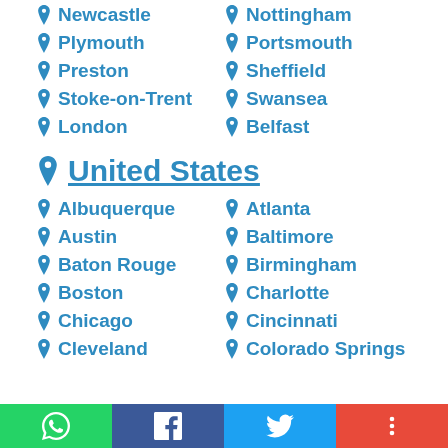Newcastle
Nottingham
Plymouth
Portsmouth
Preston
Sheffield
Stoke-on-Trent
Swansea
London
Belfast
United States
Albuquerque
Atlanta
Austin
Baltimore
Baton Rouge
Birmingham
Boston
Charlotte
Chicago
Cincinnati
Cleveland
Colorado Springs